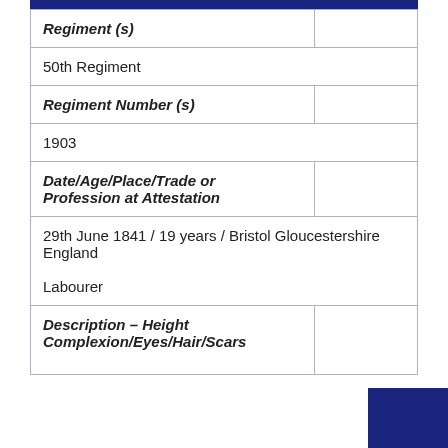| Field | Value |
| --- | --- |
| Regiment (s) |  |
| 50th Regiment |  |
| Regiment Number (s) |  |
| 1903 |  |
| Date/Age/Place/Trade or Profession at Attestation |  |
| 29th June 1841 / 19 years / Bristol Gloucestershire England
Labourer |  |
| Description – Height Complexion/Eyes/Hair/Scars |  |